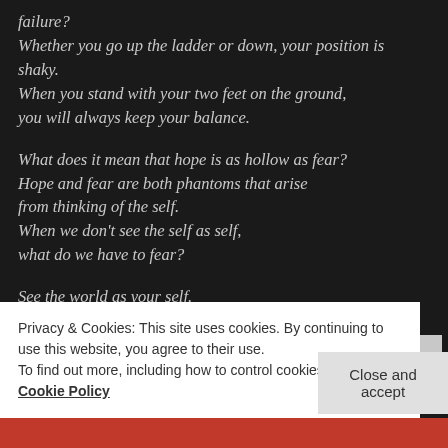failure?
Whether you go up the ladder or down, your position is shaky.
When you stand with your two feet on the ground,
you will always keep your balance.

What does it mean that hope is as hollow as fear?
Hope and fear are both phantoms that arise
from thinking of the self.
When we don't see the self as self,
what do we have to fear?

See the world as your self.
Have faith in the way things are.
Love the world as your self.
Privacy & Cookies: This site uses cookies. By continuing to use this website, you agree to their use.
To find out more, including how to control cookies, see here: Cookie Policy
Close and accept